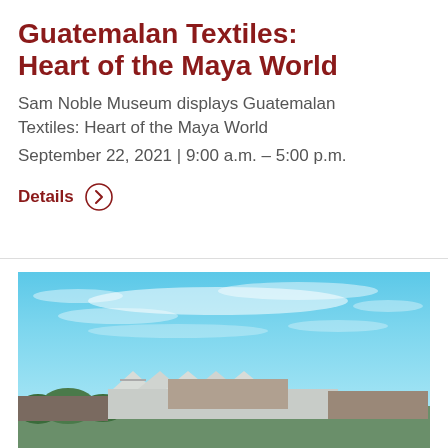Guatemalan Textiles: Heart of the Maya World
Sam Noble Museum displays Guatemalan Textiles: Heart of the Maya World
September 22, 2021 | 9:00 a.m. – 5:00 p.m.
Details
[Figure (photo): Aerial/elevated photograph of the Sam Noble Museum building with a blue sky and white clouds above, surrounded by trees and other campus buildings.]